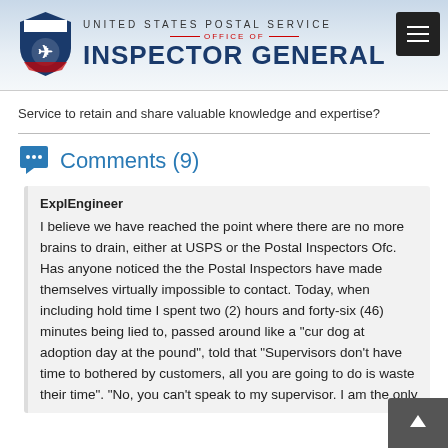[Figure (logo): United States Postal Service Office of Inspector General logo with shield and text]
Service to retain and share valuable knowledge and expertise?
Comments (9)
ExplEngineer
I believe we have reached the point where there are no more brains to drain, either at USPS or the Postal Inspectors Ofc. Has anyone noticed the the Postal Inspectors have made themselves virtually impossible to contact. Today, when including hold time I spent two (2) hours and forty-six (46) minutes being lied to, passed around like a "cur dog at adoption day at the pound", told that "Supervisors don't have time to bothered by customers, all you are going to do is waste their time". "No, you can't speak to my supervisor. I am the only